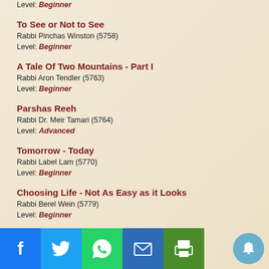Level: Beginner
To See or Not to See
Rabbi Pinchas Winston (5758)
Level: Beginner
A Tale Of Two Mountains - Part I
Rabbi Aron Tendler (5763)
Level: Beginner
Parshas Reeh
Rabbi Dr. Meir Tamari (5764)
Level: Advanced
Tomorrow - Today
Rabbi Label Lam (5770)
Level: Beginner
Choosing Life - Not As Easy as it Looks
Rabbi Berel Wein (5779)
Level: Beginner
Opportunity for Blessing
Level: Beginner